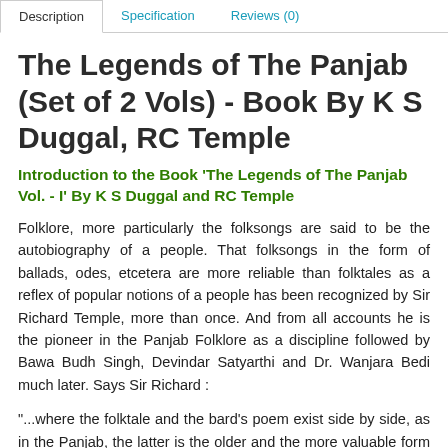Description | Specification | Reviews (0)
The Legends of The Panjab (Set of 2 Vols) - Book By K S Duggal, RC Temple
Introduction to the Book 'The Legends of The Panjab Vol. - I' By K S Duggal and RC Temple
Folklore, more particularly the folksongs are said to be the autobiography of a people. That folksongs in the form of ballads, odes, etcetera are more reliable than folktales as a reflex of popular notions of a people has been recognized by Sir Richard Temple, more than once. And from all accounts he is the pioneer in the Panjab Folklore as a discipline followed by Bawa Budh Singh, Devindar Satyarthi and Dr. Wanjara Bedi much later. Says Sir Richard :
"...where the folktale and the bard's poem exist side by side, as in the Panjab, the latter is the older and the more valuable form of the same growth, though, of course, the influence of the folktale will